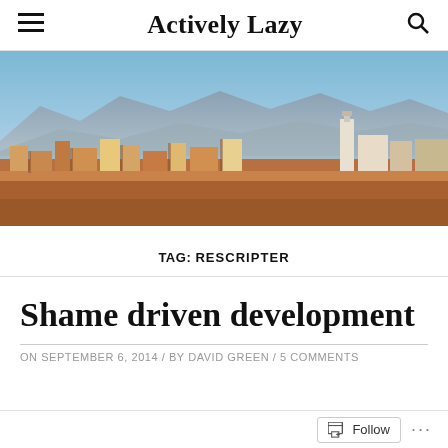Actively Lazy
[Figure (photo): Aerial panoramic view of an Italian city with terracotta rooftops, a church tower, and mountains in the background under a blue sky.]
TAG: RESCRIPTER
Shame driven development
ON SEPTEMBER 6, 2014 / BY DAVID GREEN / 5 COMMENTS